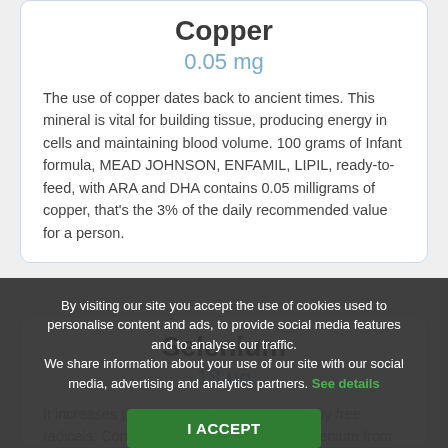Copper
0.05 mg
The use of copper dates back to ancient times. This mineral is vital for building tissue, producing energy in cells and maintaining blood volume. 100 grams of Infant formula, MEAD JOHNSON, ENFAMIL, LIPIL, ready-to-feed, with ARA and DHA contains 0.05 milligrams of copper, that’s the 3% of the daily recommended value for a person.
Selenium
18 μg
It increases protection against damage caused by free radicals. Consuming naturally occurring selenium from foods has positive effects on the immune system. 4.8 micrograms of selenium can be found on every 100 gea formula, MEAD JOHNSON,
By visiting our site you accept the use of cookies used to personalise content and ads, to provide social media features and to analyse our traffic.
We share information about your use of our site with our social media, advertising and analytics partners. See details
I ACCEPT